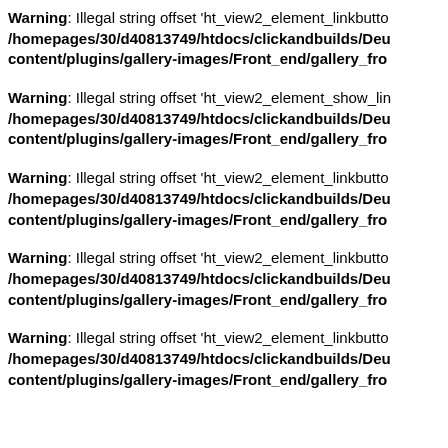Warning: Illegal string offset 'ht_view2_element_linkbutton /homepages/30/d40813749/htdocs/clickandbuilds/Deu content/plugins/gallery-images/Front_end/gallery_fro
Warning: Illegal string offset 'ht_view2_element_show_lin /homepages/30/d40813749/htdocs/clickandbuilds/Deu content/plugins/gallery-images/Front_end/gallery_fro
Warning: Illegal string offset 'ht_view2_element_linkbutto /homepages/30/d40813749/htdocs/clickandbuilds/Deu content/plugins/gallery-images/Front_end/gallery_fro
Warning: Illegal string offset 'ht_view2_element_linkbutto /homepages/30/d40813749/htdocs/clickandbuilds/Deu content/plugins/gallery-images/Front_end/gallery_fro
Warning: Illegal string offset 'ht_view2_element_linkbutto /homepages/30/d40813749/htdocs/clickandbuilds/Deu content/plugins/gallery-images/Front_end/gallery_fro